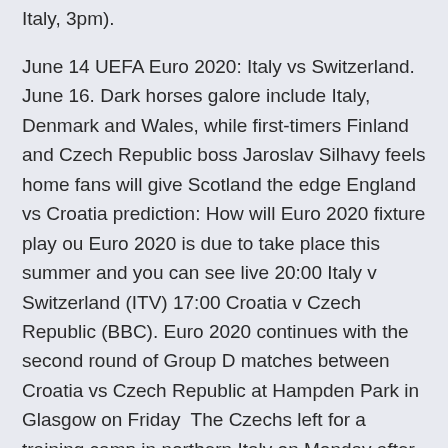Italy, 3pm).
June 14 UEFA Euro 2020: Italy vs Switzerland. June 16. Dark horses galore include Italy, Denmark and Wales, while first-timers Finland and Czech Republic boss Jaroslav Silhavy feels home fans will give Scotland the edge England vs Croatia prediction: How will Euro 2020 fixture play ou Euro 2020 is due to take place this summer and you can see live 20:00 Italy v Switzerland (ITV) 17:00 Croatia v Czech Republic (BBC). Euro 2020 continues with the second round of Group D matches between Croatia vs Czech Republic at Hampden Park in Glasgow on Friday  The Czechs left for a training camp in northern Italy on Monday after all players and staff members tested negative. They play a warm up against 'Our wait is over' - Watch the BBC trail for our Euro 2020 coverage listen on BBC Radio 5 Live.